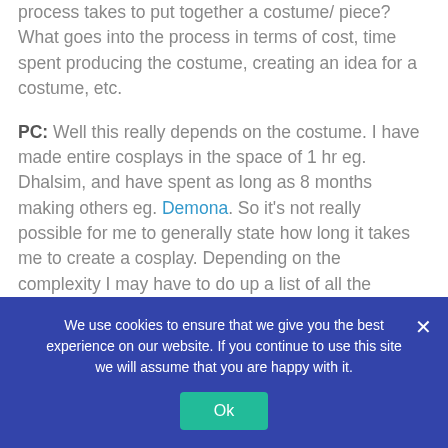process takes to put together a costume/ piece? What goes into the process in terms of cost, time spent producing the costume, creating an idea for a costume, etc.
PC: Well this really depends on the costume. I have made entire cosplays in the space of 1 hr eg. Dhalsim, and have spent as long as 8 months making others eg. Demona. So it's not really possible for me to generally state how long it takes me to create a cosplay. Depending on the complexity I may have to do up a list of all the costume parts where I have to...
We use cookies to ensure that we give you the best experience on our website. If you continue to use this site we will assume that you are happy with it.